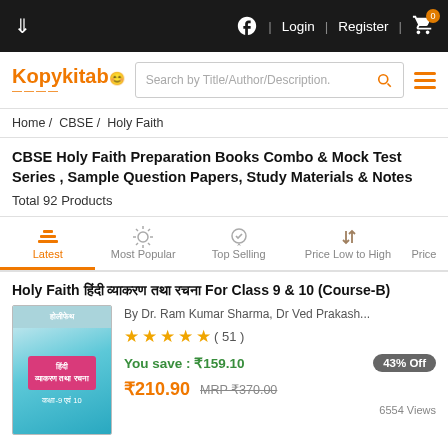Kopykitab | Login | Register | Cart
Search by Title/Author/Description.
Home / CBSE / Holy Faith
CBSE Holy Faith Preparation Books Combo & Mock Test Series , Sample Question Papers, Study Materials & Notes
Total 92 Products
Latest | Most Popular | Top Selling | Price Low to High | Price
Holy Faith हिंदी व्याकरण तथा रचना For Class 9 & 10 (Course-B)
By Dr. Ram Kumar Sharma, Dr Ved Prakash...
★★★★★ ( 51 )
You save : ₹159.10
43% Off
₹210.90  MRP ₹370.00
6554 Views